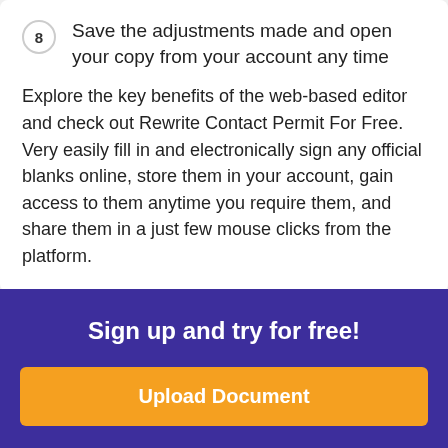8  Save the adjustments made and open your copy from your account any time
Explore the key benefits of the web-based editor and check out Rewrite Contact Permit For Free. Very easily fill in and electronically sign any official blanks online, store them in your account, gain access to them anytime you require them, and share them in a just few mouse clicks from the platform.
Sign up and try for free!
Upload Document